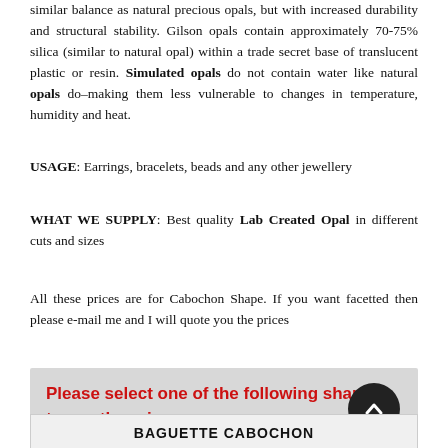similar balance as natural precious opals, but with increased durability and structural stability. Gilson opals contain approximately 70-75% silica (similar to natural opal) within a trade secret base of translucent plastic or resin. Simulated opals do not contain water like natural opals do–making them less vulnerable to changes in temperature, humidity and heat.
USAGE: Earrings, bracelets, beads and any other jewellery
WHAT WE SUPPLY: Best quality Lab Created Opal in different cuts and sizes
All these prices are for Cabochon Shape. If you want facetted then please e-mail me and I will quote you the prices
Please select one of the following shapes to see the prices
BAGUETTE CABOCHON